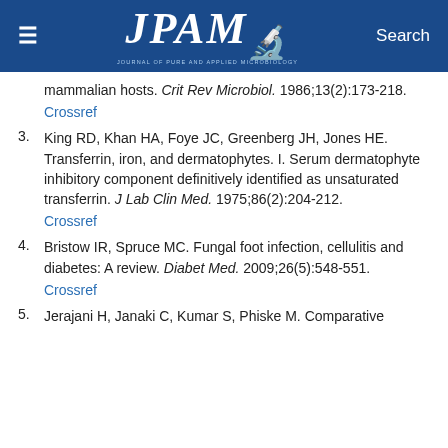≡  JPAM  Search
mammalian hosts. Crit Rev Microbiol. 1986;13(2):173-218.
Crossref
3. King RD, Khan HA, Foye JC, Greenberg JH, Jones HE. Transferrin, iron, and dermatophytes. I. Serum dermatophyte inhibitory component definitively identified as unsaturated transferrin. J Lab Clin Med. 1975;86(2):204-212.
Crossref
4. Bristow IR, Spruce MC. Fungal foot infection, cellulitis and diabetes: A review. Diabet Med. 2009;26(5):548-551.
Crossref
5. Jerajani H, Janaki C, Kumar S, Phiske M. Comparative